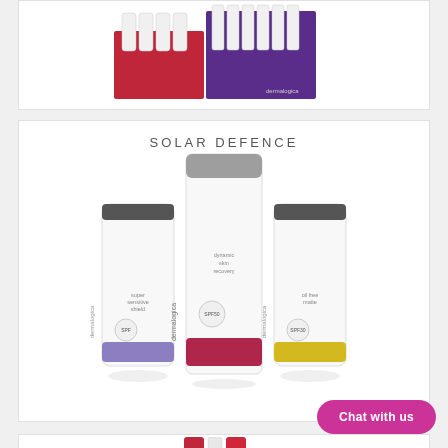[Figure (photo): Partially visible product display card showing Dermalogica skincare products in red and purple retail packaging on white background]
[Figure (photo): Solar Defence Dermalogica product card showing three skincare bottles: Super Sensitive Shield, Dynamic Skin Recovery SPF50, and Oil Free Matte SPF30 on white background]
SOLAR DEFENCE
[Figure (photo): Partial Tints and Primers product card showing tops of skincare product tubes]
TINTS AND PRIMERS
Chat with us